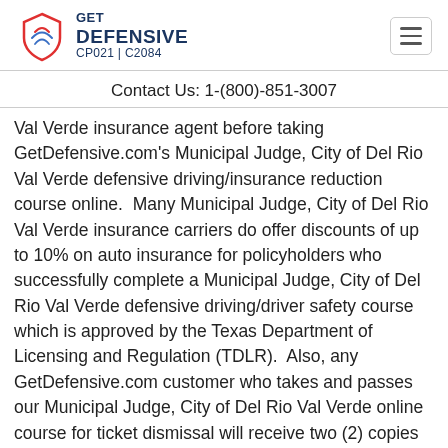GET DEFENSIVE CP021 | C2084
Contact Us: 1-(800)-851-3007
Val Verde insurance agent before taking GetDefensive.com’s Municipal Judge, City of Del Rio Val Verde defensive driving/insurance reduction course online.  Many Municipal Judge, City of Del Rio Val Verde insurance carriers do offer discounts of up to 10% on auto insurance for policyholders who successfully complete a Municipal Judge, City of Del Rio Val Verde defensive driving/driver safety course which is approved by the Texas Department of Licensing and Regulation (TDLR).  Also, any GetDefensive.com customer who takes and passes our Municipal Judge, City of Del Rio Val Verde online course for ticket dismissal will receive two (2) copies of